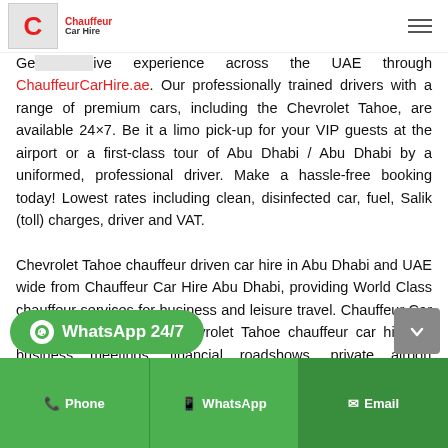Chauffeur Car Hire [logo]
Get the best chauffeur drive experience across the UAE through ChauffeurCarHire.ae. Our professionally trained drivers with a range of premium cars, including the Chevrolet Tahoe, are available 24×7. Be it a limo pick-up for your VIP guests at the airport or a first-class tour of Abu Dhabi / Abu Dhabi by a uniformed, professional driver. Make a hassle-free booking today! Lowest rates including clean, disinfected car, fuel, Salik (toll) charges, driver and VAT.
Chevrolet Tahoe chauffeur driven car hire in Abu Dhabi and UAE wide from Chauffeur Car Hire Abu Dhabi, providing World Class chauffeur services for business and leisure travel. Chauffeur Car Hire Abu Dhabi offers Chevrolet Tahoe chauffeur car hire for business meetings, financial roadshows, private airport chauffeur transfer to Abu Dhabi Airport, Abu Dhabi, Sharjah A... urs. Experience the ultimate
[Figure (other): WhatsApp 24/7 bubble button, green rounded pill with WhatsApp icon]
Phone | WhatsApp | Email